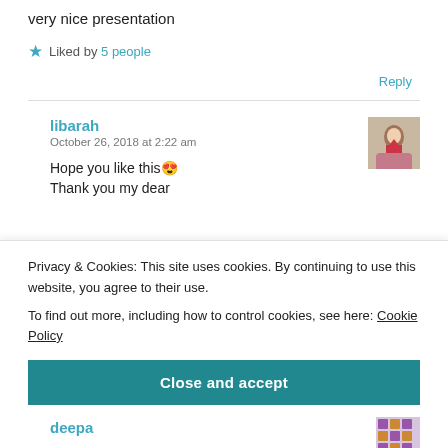very nice presentation
★ Liked by 5 people
Reply
libarah
October 26, 2018 at 2:22 am
Hope you like this 😍
Thank you my dear
Privacy & Cookies: This site uses cookies. By continuing to use this website, you agree to their use.
To find out more, including how to control cookies, see here: Cookie Policy
Close and accept
deepa